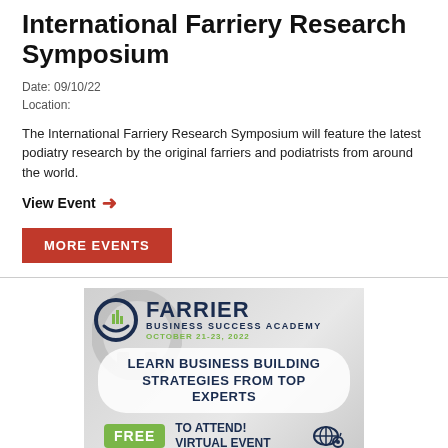International Farriery Research Symposium
Date: 09/10/22
Location:
The International Farriery Research Symposium will feature the latest podiatry research by the original farriers and podiatrists from around the world.
View Event →
MORE EVENTS
[Figure (infographic): Farrier Business Success Academy advertisement. Shows logo with horseshoe and bar chart graphic, text: FARRIER BUSINESS SUCCESS ACADEMY OCTOBER 21-23, 2022, LEARN BUSINESS BUILDING STRATEGIES FROM TOP EXPERTS, FREE TO ATTEND! VIRTUAL EVENT]